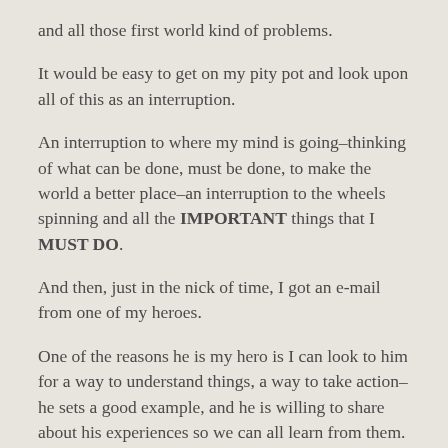and all those first world kind of problems.
It would be easy to get on my pity pot and look upon all of this as an interruption.
An interruption to where my mind is going–thinking of what can be done, must be done, to make the world a better place–an interruption to the wheels spinning and all the IMPORTANT things that I MUST DO.
And then, just in the nick of time, I got an e-mail from one of my heroes.
One of the reasons he is my hero is I can look to him for a way to understand things, a way to take action–he sets a good example, and he is willing to share about his experiences so we can all learn from them.
Hank Holl...